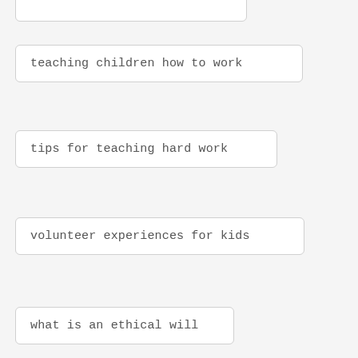teaching children how to work
tips for teaching hard work
volunteer experiences for kids
what is an ethical will
autobiography template
activities in retirement communities
new programs for retirement communities
intergenerational programs in libraries
libraries and family history projects